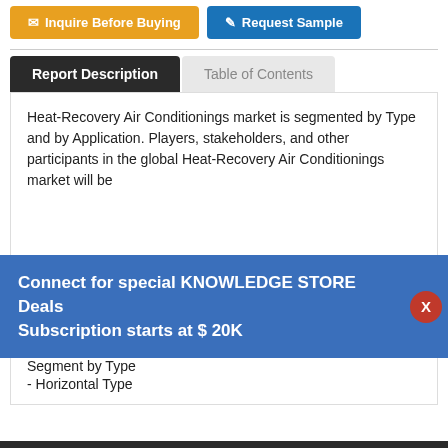[Figure (screenshot): Buttons: Inquire Before Buying (orange) and Request Sample (blue)]
Report Description | Table of Contents
Heat-Recovery Air Conditionings market is segmented by Type and by Application. Players, stakeholders, and other participants in the global Heat-Recovery Air Conditionings market will be able to gain the upper hand as they use the report as a powerful resource. 2017-2028.
Connect for special KNOWLEDGE STORE Deals
Subscription starts at $ 20K
Segment by Type
- Horizontal Type
Request For Sample Of This Report
Buy Any Report Avail 20%
 Code:
Leave a message
Segment
- House